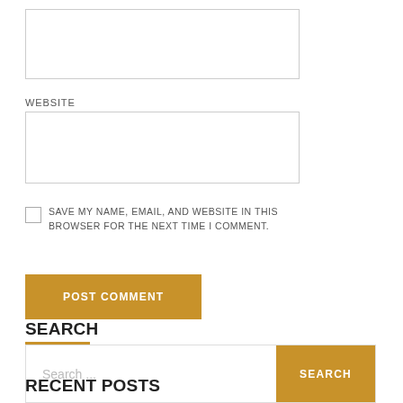[Figure (other): Empty text input box (top, partially visible)]
WEBSITE
[Figure (other): Empty text input box for website URL]
SAVE MY NAME, EMAIL, AND WEBSITE IN THIS BROWSER FOR THE NEXT TIME I COMMENT.
POST COMMENT
SEARCH
[Figure (other): Search input field with placeholder 'Search ...' and a golden SEARCH button]
RECENT POSTS